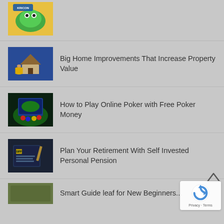[Figure (photo): Thumbnail image with colorful frog/cartoon logo - KRICON branding]
[Figure (photo): Person placing coin on top of small house model with stack of coins]
Big Home Improvements That Increase Property Value
[Figure (photo): Online poker game on computer screen with poker chips]
How to Play Online Poker with Free Poker Money
[Figure (photo): Dark book/notebook with SIPP self invested personal pension text]
Plan Your Retirement With Self Invested Personal Pension
[Figure (photo): Partial thumbnail at bottom of page]
Smart Guide leaf for New Beginners...